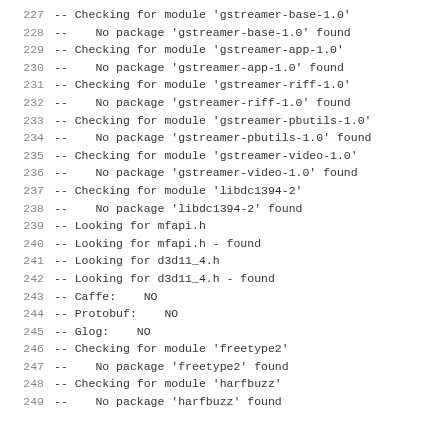227   -- Checking for module 'gstreamer-base-1.0'
228   --   No package 'gstreamer-base-1.0' found
229   -- Checking for module 'gstreamer-app-1.0'
230   --   No package 'gstreamer-app-1.0' found
231   -- Checking for module 'gstreamer-riff-1.0'
232   --   No package 'gstreamer-riff-1.0' found
233   -- Checking for module 'gstreamer-pbutils-1.0'
234   --   No package 'gstreamer-pbutils-1.0' found
235   -- Checking for module 'gstreamer-video-1.0'
236   --   No package 'gstreamer-video-1.0' found
237   -- Checking for module 'libdc1394-2'
238   --   No package 'libdc1394-2' found
239   -- Looking for mfapi.h
240   -- Looking for mfapi.h - found
241   -- Looking for d3d11_4.h
242   -- Looking for d3d11_4.h - found
243   -- Caffe:   NO
244   -- Protobuf:   NO
245   -- Glog:   NO
246   -- Checking for module 'freetype2'
247   --   No package 'freetype2' found
248   -- Checking for module 'harfbuzz'
249   --   No package 'harfbuzz' found